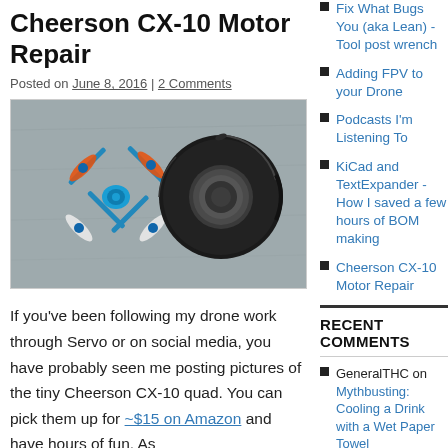Cheerson CX-10 Motor Repair
Posted on June 8, 2016 | 2 Comments
[Figure (photo): Photo of a small Cheerson CX-10 quadcopter drone (blue frame with orange and white propellers) next to a roll of black electrical tape, on a grey surface.]
If you've been following my drone work through Servo or on social media, you have probably seen me posting pictures of the tiny Cheerson CX-10 quad. You can pick them up for ~$15 on Amazon and have hours of fun. As
Fix What Bugs You (aka Lean) - Tool post wrench
Adding FPV to your Drone
Podcasts I'm Listening To
KiCad and TextExpander - How I saved a few hours of BOM making
Cheerson CX-10 Motor Repair
RECENT COMMENTS
GeneralTHC on Mythbusting: Cooling a Drink with a Wet Paper Towel
Brian Fiedler on Fix ...